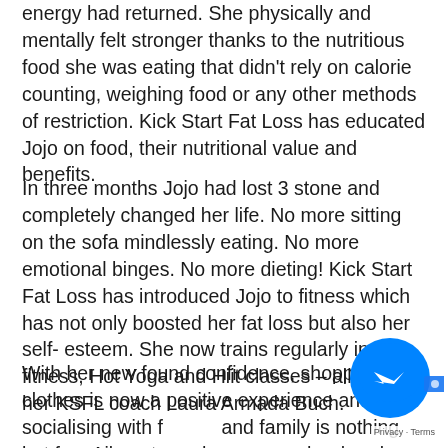energy had returned. She physically and mentally felt stronger thanks to the nutritious food she was eating that didn't rely on calorie counting, weighing food or any other methods of restriction. Kick Start Fat Loss has educated Jojo on food, their nutritional value and benefits.
In three months Jojo had lost 3 stone and completely changed her life. No more sitting on the sofa mindlessly eating. No more emotional binges. No more dieting! Kick Start Fat Loss has introduced Jojo to fitness which has not only boosted her fat loss but also her self- esteem. She now trains regularly in Pole fitness, Hot Yoga and Hiit classes – all ran by her KSFL coach Laura Armada Buch.
With her new found confidence, shopping for clothes is now a positive experience and socialising with friends and family is nothing but fun. Ailments such as pain in her hands have now completely gone – of which Jojo
[Figure (illustration): Facebook Messenger chat icon overlay at bottom right corner, with blue circular messenger logo and a camera icon partially visible. A 'Privacy · Terms' label is shown below.]